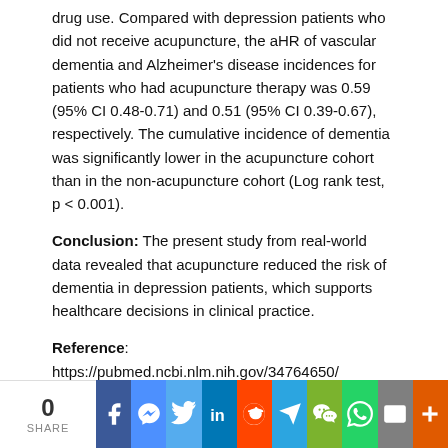drug use. Compared with depression patients who did not receive acupuncture, the aHR of vascular dementia and Alzheimer's disease incidences for patients who had acupuncture therapy was 0.59 (95% CI 0.48-0.71) and 0.51 (95% CI 0.39-0.67), respectively. The cumulative incidence of dementia was significantly lower in the acupuncture cohort than in the non-acupuncture cohort (Log rank test, p < 0.001).
Conclusion: The present study from real-world data revealed that acupuncture reduced the risk of dementia in depression patients, which supports healthcare decisions in clinical practice.
Reference: https://pubmed.ncbi.nlm.nih.gov/34764650/
[Figure (other): Social share buttons: Facebook (dark blue), Twitter (light blue), LinkedIn (teal)]
Tags   ACUPUNCTURE   DEMENTIA   DEPRESSION
ABOUT ATTIS
[Figure (other): Bottom social share bar with count 0 SHARE and buttons: Facebook, Messenger, Twitter, LinkedIn, Reddit, Telegram, WeChat, WhatsApp, Email, Plus]